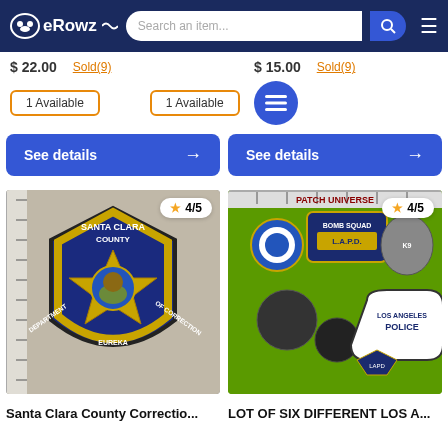eRowz — Search an item...
$ 22.00   Sold(9)   $ 15.00   Sold(9)
1 Available   1 Available
See details → See details →
[Figure (photo): Santa Clara County Department of Correction embroidered patch with star badge design, rating 4/5]
[Figure (photo): Lot of six different Los Angeles police patches including LAPD Bomb Squad, K9, Los Angeles Police, and others, rating 4/5]
Santa Clara County Correctio...
LOT OF SIX DIFFERENT LOS A...